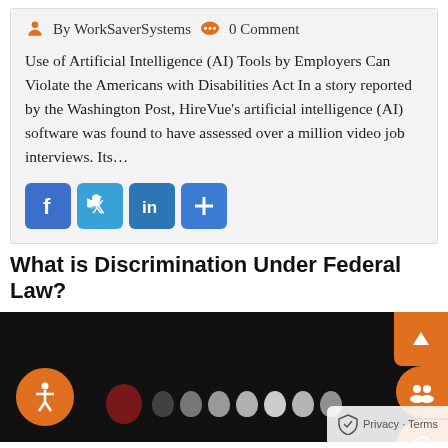By WorkSaverSystems  0 Comment
Use of Artificial Intelligence (AI) Tools by Employers Can Violate the Americans with Disabilities Act In a story reported by the Washington Post, HireVue's artificial intelligence (AI) software was found to have assessed over a million video job interviews. Its...
[Figure (other): Social sharing buttons: Facebook, Twitter, LinkedIn, and a plus/share button]
What is Discrimination Under Federal Law?
[Figure (photo): Dark background image with human silhouette dots/figures at the bottom, a dark red circle on the left, and accessibility, scroll-up, and reCAPTCHA/Privacy overlay buttons.]